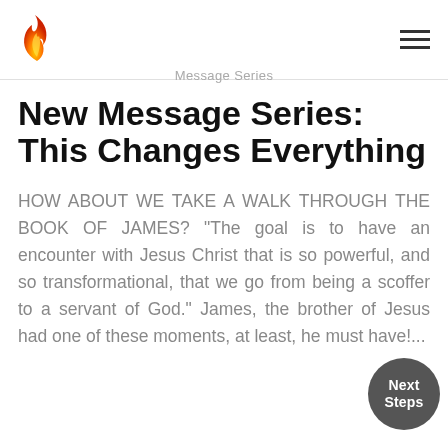[Figure (logo): Orange flame logo icon in top left of page header]
Message Series
New Message Series: This Changes Everything
HOW ABOUT WE TAKE A WALK THROUGH THE BOOK OF JAMES? "The goal is to have an encounter with Jesus Christ that is so powerful, and so transformational, that we go from being a scoffer to a servant of God." James, the brother of Jesus had one of these moments, at least, he must have!...